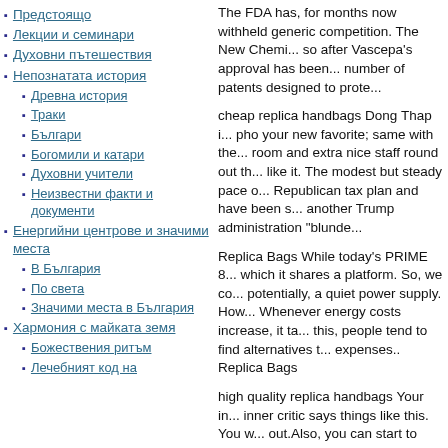Предстоящо
Лекции и семинари
Духовни пътешествия
Непознатата история
Древна история
Траки
Българи
Богомили и катари
Духовни учители
Неизвестни факти и документи
Енергийни центрове и значими места
В България
По света
Значими места в България
Хармония с майката земя
Божествения ритъм
Лечебният код на
The FDA has, for months now withheld generic competition. The New Chemi... so after Vascepa's approval has been... number of patents designed to prote...
cheap replica handbags Dong Thap i... pho your new favorite; same with the... room and extra nice staff round out t... like it. The modest but steady pace o... Republican tax plan and have been s... another Trump administration “blunde...
Replica Bags While today's PRIME 8... which it shares a platform. So, we co... potentially, a quiet power supply. How... Whenever energy costs increase, it ta... this, people tend to find alternatives t... expenses.. Replica Bags
high quality replica handbags Your in... inner critic says things like this. You w... out.Also, you can start to challenge th... as storied a rivalry as Hopkins Navy.... went away without a whimper in 2014... nothing to do with a school that had a...
wholesale replica designer handbags... fashion assistant and stylist for seven... transform her image from that of a m...